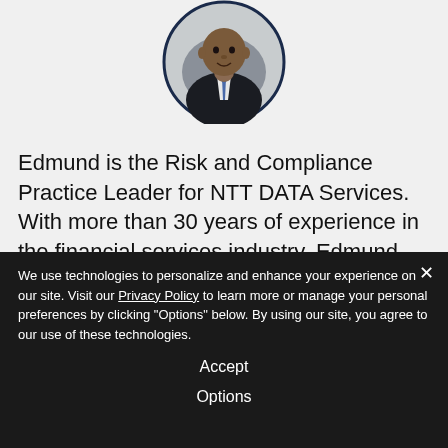[Figure (photo): Circular profile photo of a man in a suit with a blue tie, on a gray background]
Edmund is the Risk and Compliance Practice Leader for NTT DATA Services. With more than 30 years of experience in the financial services industry, Edmund has held senior positions focusing on
We use technologies to personalize and enhance your experience on our site. Visit our Privacy Policy to learn more or manage your personal preferences by clicking "Options" below. By using our site, you agree to our use of these technologies.
Accept
Options